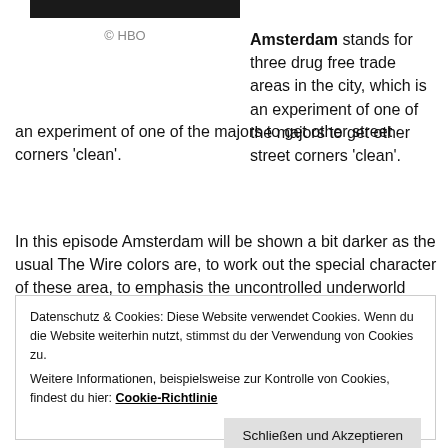[Figure (other): Black bar at top, likely image placeholder or header graphic]
© HBO
Amsterdam stands for three drug free trade areas in the city, which is an experiment of one of the majors to get other street corners 'clean'.
In this episode Amsterdam will be shown a bit darker as the usual The Wire colors are, to work out the special character of these area, to emphasis the uncontrolled underworld character shown in dark and white.
Datenschutz & Cookies: Diese Website verwendet Cookies. Wenn du die Website weiterhin nutzt, stimmst du der Verwendung von Cookies zu.
Weitere Informationen, beispielsweise zur Kontrolle von Cookies, findest du hier: Cookie-Richtlinie
Schließen und Akzeptieren